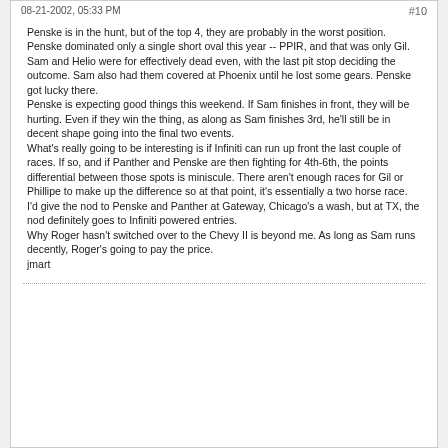08-21-2002, 05:33 PM    #10
Penske is in the hunt, but of the top 4, they are probably in the worst position. Penske dominated only a single short oval this year -- PPIR, and that was only Gil. Sam and Helio were for effectively dead even, with the last pit stop deciding the outcome. Sam also had them covered at Phoenix until he lost some gears. Penske got lucky there.
Penske is expecting good things this weekend. If Sam finishes in front, they will be hurting. Even if they win the thing, as along as Sam finishes 3rd, he'll still be in decent shape going into the final two events.
What's really going to be interesting is if Infiniti can run up front the last couple of races. If so, and if Panther and Penske are then fighting for 4th-6th, the points differential between those spots is miniscule. There aren't enough races for Gil or Phillipe to make up the difference so at that point, it's essentially a two horse race. I'd give the nod to Penske and Panther at Gateway, Chicago's a wash, but at TX, the nod definitely goes to Infiniti powered entries.
Why Roger hasn't switched over to the Chevy II is beyond me. As long as Sam runs decently, Roger's going to pay the price.
jmart